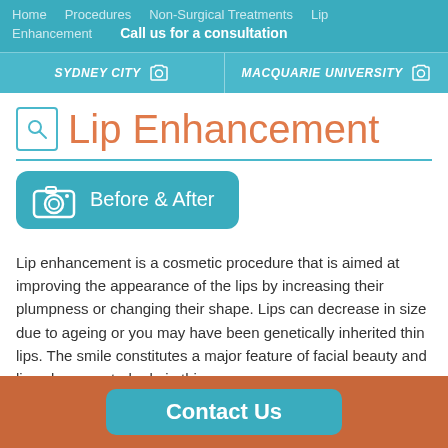Home   Procedures   Non-Surgical Treatments   Lip Enhancement   Call us for a consultation
SYDNEY CITY   MACQUARIE UNIVERSITY
Lip Enhancement
Before & After
Lip enhancement is a cosmetic procedure that is aimed at improving the appearance of the lips by increasing their plumpness or changing their shape. Lips can decrease in size due to ageing or you may have been genetically inherited thin lips. The smile constitutes a major feature of facial beauty and lips play a central role in this...
Contact Us